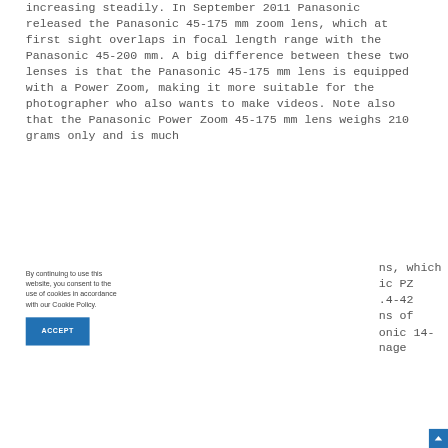increasing steadily. In September 2011 Panasonic released the Panasonic 45-175 mm zoom lens, which at first sight overlaps in focal length range with the Panasonic 45-200 mm. A big difference between these two lenses is that the Panasonic 45-175 mm lens is equipped with a Power Zoom, making it more suitable for the photographer who also wants to make videos. Note also that the Panasonic Power Zoom 45-175 mm lens weighs 210 grams only and is much
By continuing to use this website, you consent to the use of cookies in accordance with our Cookie Policy.
ns, which ic PZ .4-42 ns of onic 14- nage